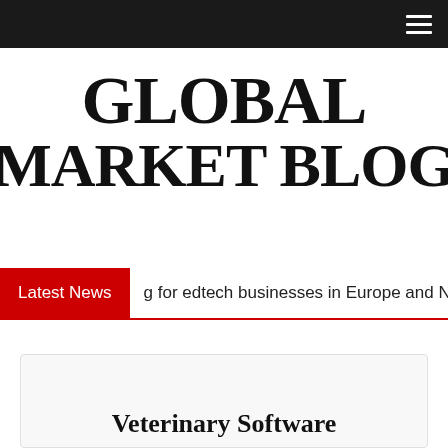≡
GLOBAL MARKET BLOG
Latest News   g for edtech businesses in Europe and N…
Veterinary Software